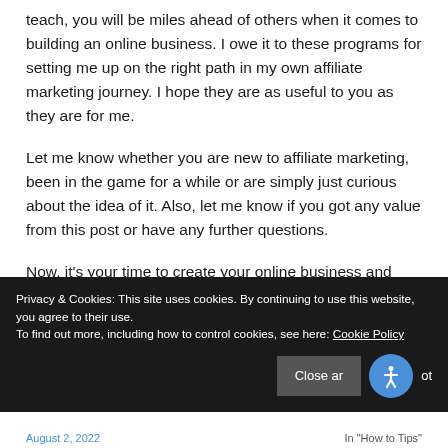teach, you will be miles ahead of others when it comes to building an online business. I owe it to these programs for setting me up on the right path in my own affiliate marketing journey. I hope they are as useful to you as they are for me.
Let me know whether you are new to affiliate marketing, been in the game for a while or are simply just curious about the idea of it. Also, let me know if you got any value from this post or have any further questions.
Now, it's your time to create your online business and
Privacy & Cookies: This site uses cookies. By continuing to use this website, you agree to their use.
To find out more, including how to control cookies, see here: Cookie Policy
August 2, 2022   In "How to Tips"